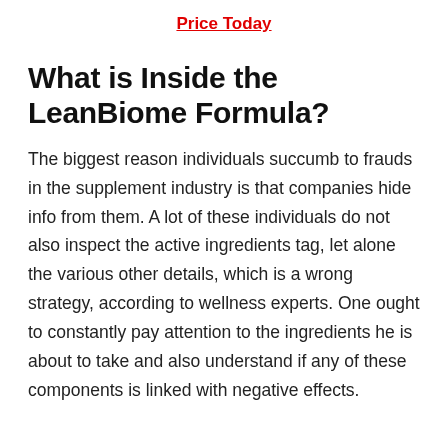Price Today
What is Inside the LeanBiome Formula?
The biggest reason individuals succumb to frauds in the supplement industry is that companies hide info from them. A lot of these individuals do not also inspect the active ingredients tag, let alone the various other details, which is a wrong strategy, according to wellness experts. One ought to constantly pay attention to the ingredients he is about to take and also understand if any of these components is linked with negative effects.